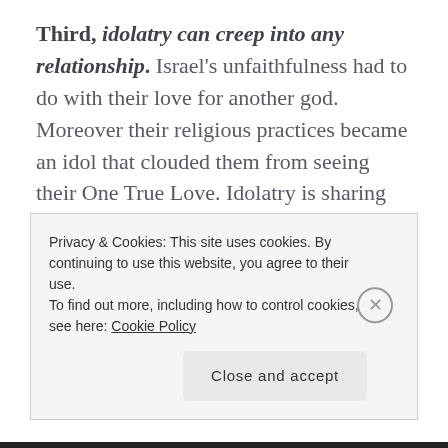Third, idolatry can creep into any relationship. Israel's unfaithfulness had to do with their love for another god. Moreover their religious practices became an idol that clouded them from seeing their One True Love. Idolatry is sharing your love with something other than God. People can be idols, but God never meant for marriage to be-all.
Privacy & Cookies: This site uses cookies. By continuing to use this website, you agree to their use.
To find out more, including how to control cookies, see here: Cookie Policy
Close and accept